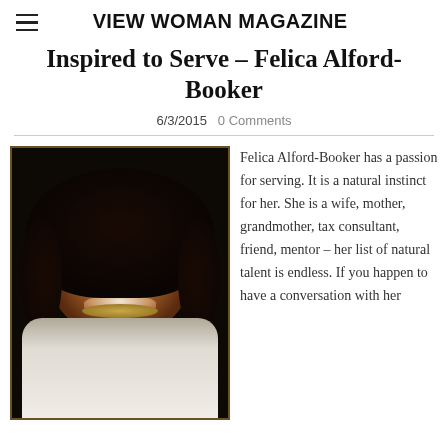VIEW WOMAN MAGAZINE
Inspired to Serve - Felica Alford-Booker
6/3/2015   0 Comments
[Figure (photo): Portrait photo of Felica Alford-Booker, a smiling woman in a white blazer with curly hair, against a dark background]
Felica Alford-Booker has a passion for serving. It is a natural instinct for her. She is a wife, mother, grandmother, tax consultant, friend, mentor – her list of natural talent is endless. If you happen to have a conversation with her